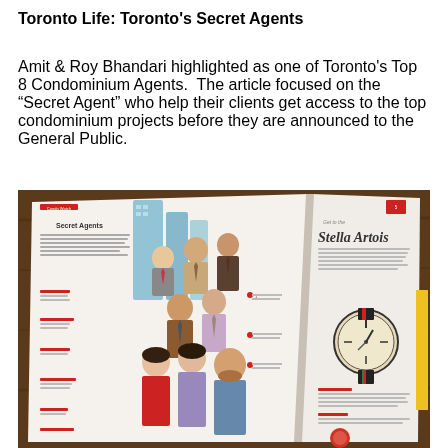Toronto Life: Toronto's Secret Agents
Amit & Roy Bhandari highlighted as one of Toronto's Top 8 Condominium Agents. The article focused on the “Secret Agent” who help their clients get access to the top condominium projects before they are announced to the General Public.
[Figure (photo): A photograph of an open magazine spread showing the Toronto Life article titled 'Secret Agents' with illustrated portraits of eight real estate agents depicted in comic/cartoon style against a city skyline backdrop. The right page of the spread shows an advertisement for Stella Artois featuring a watch.]